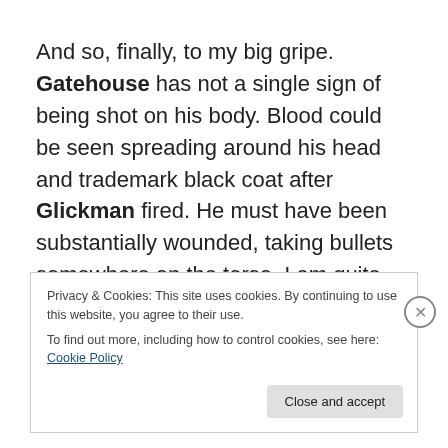And so, finally, to my big gripe. Gatehouse has not a single sign of being shot on his body. Blood could be seen spreading around his head and trademark black coat after Glickman fired. He must have been substantially wounded, taking bullets somewhere on the torso. I am quite willing to accept that Gatehouse turns out to be the unbeatable top dog, as he has been all along. I wouldn't
Privacy & Cookies: This site uses cookies. By continuing to use this website, you agree to their use.
To find out more, including how to control cookies, see here: Cookie Policy